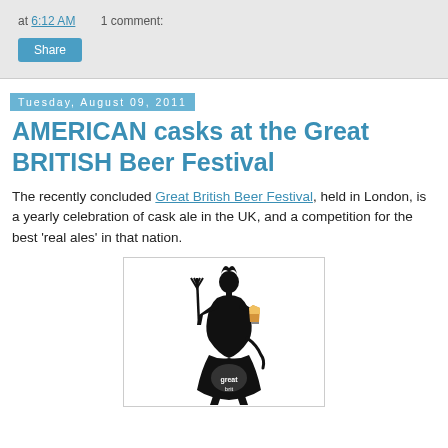at 6:12 AM   1 comment:
Share
Tuesday, August 09, 2011
AMERICAN casks at the Great BRITISH Beer Festival
The recently concluded Great British Beer Festival, held in London, is a yearly celebration of cask ale in the UK, and a competition for the best 'real ales' in that nation.
[Figure (logo): Great British Beer Festival logo: stylized silhouette of Britannia figure holding a trident and a pint of beer, with decorative text forming skirt/body area]